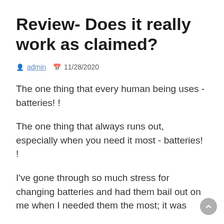Review- Does it really work as claimed?
admin  11/28/2020
The one thing that every human being uses - batteries! !
The one thing that always runs out, especially when you need it most - batteries! !
I've gone through so much stress for changing batteries and had them bail out on me when I needed them the most; it was